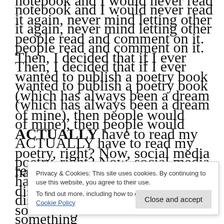notebook and I would never read it again, never mind letting other people read and comment on it. Then, I decided that if I ever wanted to publish a poetry book (which has always been a dream of mine), then people would ACTUALLY have to read my poetry, right? Now, social media has its advantages and disadvantages. When you post something online it is there for everyone and anyone to f... w... n... r... read.
Privacy & Cookies: This site uses cookies. By continuing to use this website, you agree to their use. To find out more, including how to control cookies, see here: Cookie Policy